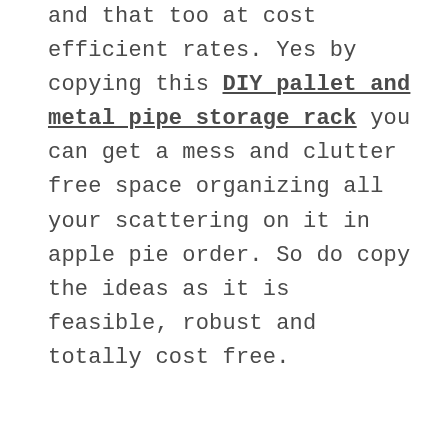and that too at cost efficient rates. Yes by copying this DIY pallet and metal pipe storage rack you can get a mess and clutter free space organizing all your scattering on it in apple pie order. So do copy the ideas as it is feasible, robust and totally cost free.